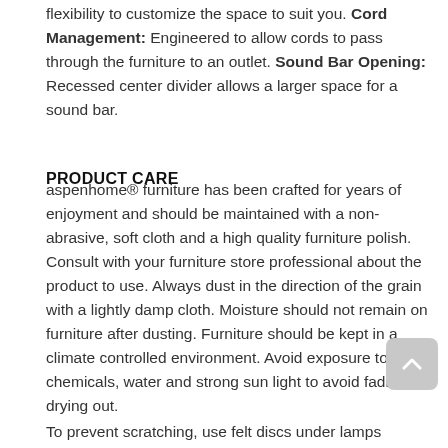flexibility to customize the space to suit you. Cord Management: Engineered to allow cords to pass through the furniture to an outlet. Sound Bar Opening: Recessed center divider allows a larger space for a sound bar.
PRODUCT CARE
aspenhome® furniture has been crafted for years of enjoyment and should be maintained with a non-abrasive, soft cloth and a high quality furniture polish. Consult with your furniture store professional about the product to use. Always dust in the direction of the grain with a lightly damp cloth. Moisture should not remain on furniture after dusting. Furniture should be kept in a climate controlled environment. Avoid exposure to heat, chemicals, water and strong sun light to avoid fading and drying out.
To prevent scratching, use felt discs under lamps